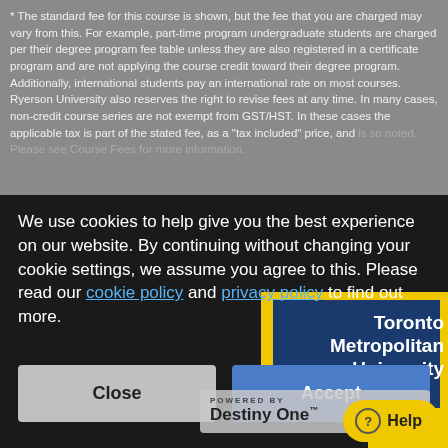* The standard fee for this course is shown, but the fee that you are charged may vary from this. For example, part-time program undergraduate students are charged per their degree program fee table unless they are also registered in a certificate program and are not applying the course credit toward their degree program. Additionally, international students pay an international rate on most courses. Ryerson University also reserves the right to revise fees at any time. In many cases, non-credit course series are not exempt from GST/HST. In these cases the applicable tax is part of the stated fee, as a "tax included" price, and is so noted. Please see Course Fees for more information.
[Figure (screenshot): Cookie consent banner overlay on Ryerson University course page. Banner text: 'We use cookies to help give you the best experience on our website. By continuing without changing your cookie settings, we assume you agree to this. Please read our cookie policy and privacy policy to find out more.' Two buttons: Close (grey) and Accept (blue). Toronto Metropolitan University logo with yellow and blue branding visible in bottom-right. Powered by Destiny One badge and Help button also visible.]